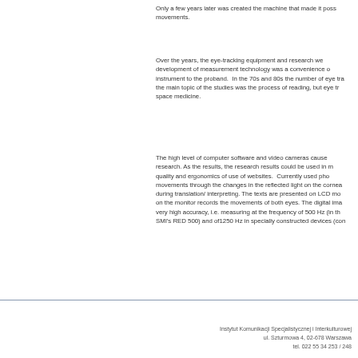Only a few years later was created the machine that made it possible to record eye movements.
Over the years, the eye-tracking equipment and research were developed. The development of measurement technology was a convenience of attaching the measurement instrument to the proband. In the 70s and 80s the number of eye tracking studies grew and the main topic of the studies was the process of reading, but eye tracking was also used in space medicine.
The high level of computer software and video cameras caused a growth in eye-tracking research. As the results, the research results could be used in many fields e.g., checking the quality and ergonomics of use of websites. Currently used photo-oculographic measure eye movements through the changes in the reflected light on the cornea. They record eye movements during translation/ interpreting. The texts are presented on LCD monitors and the camera placed on the monitor records the movements of both eyes. The digital image analysis is performed with very high accuracy, i.e. measuring at the frequency of 500 Hz (in the case of measuring with SMI's RED 500) and of1250 Hz in specially constructed devices (con
Instytut Komunikacji Specjalistycznej i Interkulturowej
ul. Szturmowa 4, 02-678 Warszawa
tel. 022 55 34 253 / 248